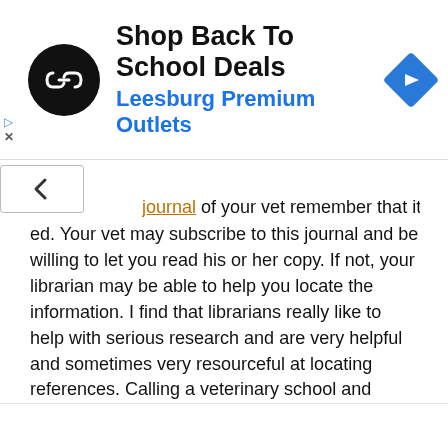[Figure (screenshot): Advertisement banner: black circular logo with white chain-link symbol, text 'Shop Back To School Deals' and 'Leesburg Premium Outlets' in blue, blue diamond navigation arrow icon on right. Small play and X icons on left edge.]
reference as to the [journal] of your vet remember that it was [publish]ed. Your vet may subscribe to this journal and be willing to let you read his or her copy. If not, your librarian may be able to help you locate the information. I find that librarians really like to help with serious research and are very helpful and sometimes very resourceful at locating references. Calling a veterinary school and asking to talk to their neurologist can be helpful, too. Once in a while you have to get your vet to call but if you write a list of the questions you need answers to your vet should be able to get them for you. If your vet is a member of the Veterinary Information Network (tm) or NOAH (the online program of the American Veterinary Medical Association), he or she may be able to locate literature sources for you through their databases. If you live near a veterinary college you can probably use their library if you drive there. Finding information can be difficult but if you get one good source, check the references it lists and then look at those and